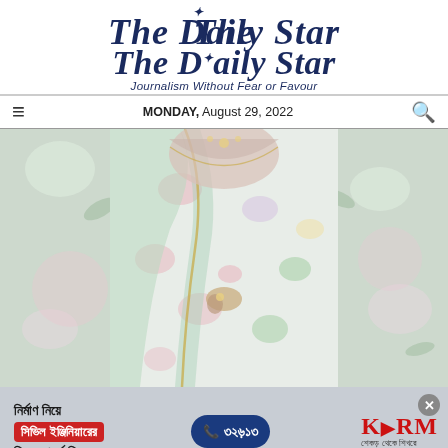The Daily Star — Journalism Without Fear or Favour — MONDAY, August 29, 2022
[Figure (photo): A woman wearing a floral printed saree/lehenga in light colors (white, green, pink roses), photographed against a floral wallpaper background. Her face is not visible; she is holding the garment with both hands.]
[Figure (infographic): Advertisement banner for KSRM (construction company). Bengali text: 'নির্মাণ নিয়ে সিভিল ইঞ্জিনিয়ারের ফ্রি পরামর্শ নিতে', phone number ১৬৭৪১, KSRM logo with slogan 'শেকড় থেকে শিখরে'. Close (X) button in top right.]